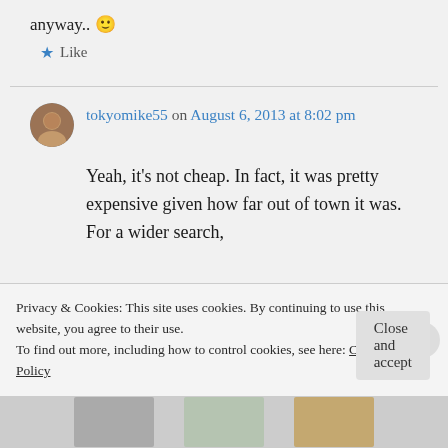anyway.. 🙂
★ Like
tokyomike55 on August 6, 2013 at 8:02 pm
Yeah, it's not cheap. In fact, it was pretty expensive given how far out of town it was. For a wider search,
Privacy & Cookies: This site uses cookies. By continuing to use this website, you agree to their use.
To find out more, including how to control cookies, see here: Cookie Policy
Close and accept